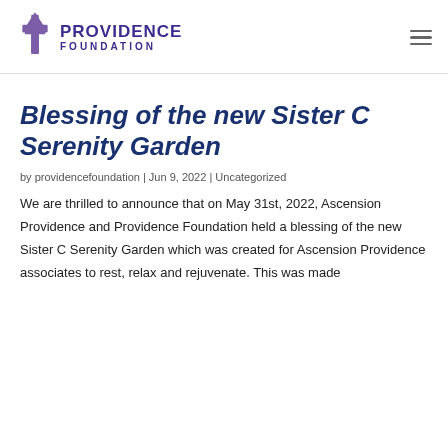Providence Foundation
Blessing of the new Sister C Serenity Garden
by providencefoundation | Jun 9, 2022 | Uncategorized
We are thrilled to announce that on May 31st, 2022, Ascension Providence and Providence Foundation held a blessing of the new Sister C Serenity Garden which was created for Ascension Providence associates to rest, relax and rejuvenate. This was made